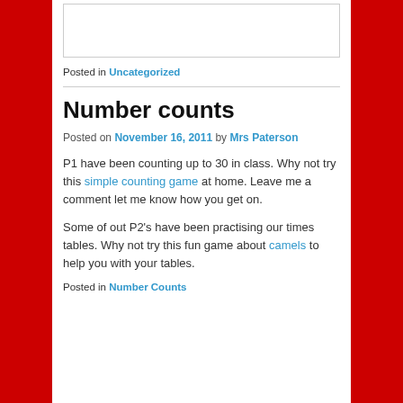[Figure (other): Empty white text input box with light gray border]
Posted in Uncategorized
Number counts
Posted on November 16, 2011 by Mrs Paterson
P1 have been counting up to 30 in class. Why not try this simple counting game at home. Leave me a comment let me know how you get on.
Some of out P2's have been practising our times tables. Why not try this fun game about camels to help you with your tables.
Posted in Number Counts